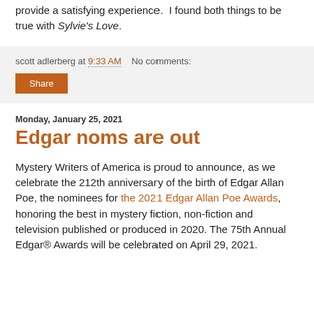provide a satisfying experience.  I found both things to be true with Sylvie's Love.
scott adlerberg at 9:33 AM   No comments:
Share
Monday, January 25, 2021
Edgar noms are out
Mystery Writers of America is proud to announce, as we celebrate the 212th anniversary of the birth of Edgar Allan Poe, the nominees for the 2021 Edgar Allan Poe Awards, honoring the best in mystery fiction, non-fiction and television published or produced in 2020. The 75th Annual Edgar® Awards will be celebrated on April 29, 2021.